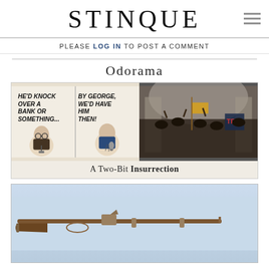STINQUE
PLEASE LOG IN TO POST A COMMENT
Odorama
[Figure (illustration): Article card with a comic panel on the left showing two men talking with text 'HE'D KNOCK OVER A BANK OR SOMETHING...' and 'BY GEORGE, WE'D HAVE HIM THEN!' and a photo of a crowd of insurrectionists inside the US Capitol on the right. Caption reads: A Two-Bit INSURRECTION]
[Figure (photo): Photo of an antique flintlock musket/rifle on a light blue background]